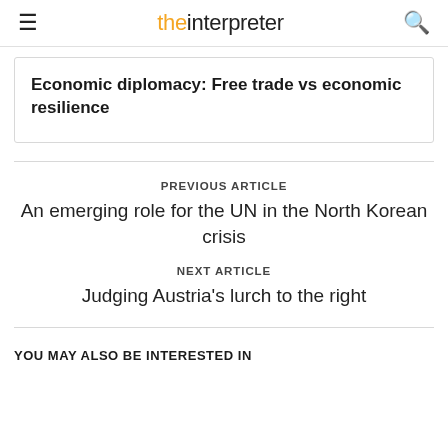the interpreter
Economic diplomacy: Free trade vs economic resilience
PREVIOUS ARTICLE
An emerging role for the UN in the North Korean crisis
NEXT ARTICLE
Judging Austria's lurch to the right
YOU MAY ALSO BE INTERESTED IN